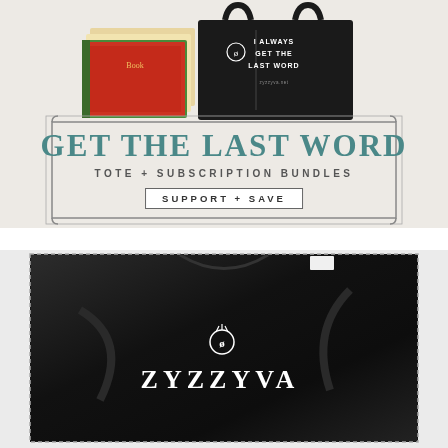[Figure (photo): Photo of a black tote bag with 'I ALWAYS GET THE LAST WORD' text and a bug logo, alongside stacked books/magazines, on a light background. Decorative frame border around the composition.]
GET THE LAST WORD
TOTE + SUBSCRIPTION BUNDLES
SUPPORT + SAVE
[Figure (photo): Close-up photo of a black t-shirt with white 'ZYZZYVA' text and a bug/beetle logo printed on it, shown against a light background inside a dotted border frame.]